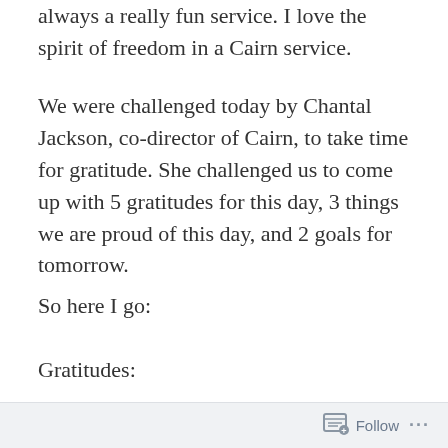always a really fun service. I love the spirit of freedom in a Cairn service.
We were challenged today by Chantal Jackson, co-director of Cairn, to take time for gratitude. She challenged us to come up with 5 gratitudes for this day, 3 things we are proud of this day, and 2 goals for tomorrow.
So here I go:
Gratitudes:
1) A church that is ALIVE in which to lead,
Follow ...